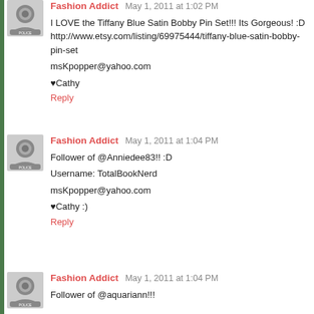Fashion Addict May 1, 2011 at 1:02 PM
I LOVE the Tiffany Blue Satin Bobby Pin Set!!! Its Gorgeous! :D
http://www.etsy.com/listing/69975444/tiffany-blue-satin-bobby-pin-set

msKpopper@yahoo.com

♥Cathy

Reply
Fashion Addict May 1, 2011 at 1:04 PM
Follower of @Anniedee83!! :D

Username: TotalBookNerd

msKpopper@yahoo.com

♥Cathy :)

Reply
Fashion Addict May 1, 2011 at 1:04 PM
Follower of @aquariann!!!